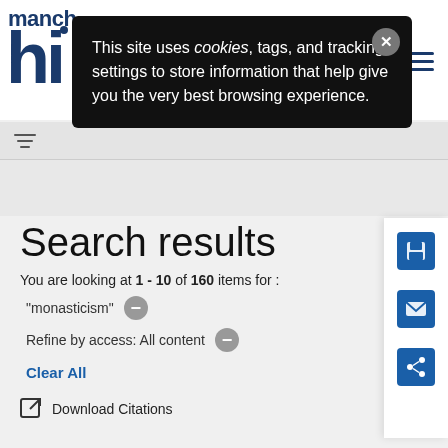[Figure (screenshot): Website header with 'manch' text and 'hi' logo in dark navy blue]
This site uses cookies, tags, and tracking settings to store information that help give you the very best browsing experience.
[Figure (other): Filter/sort icon with three horizontal lines of decreasing width]
Search results
You are looking at 1 - 10 of 160 items for :
"monasticism" —
Refine by access: All content —
Clear All
Download Citations